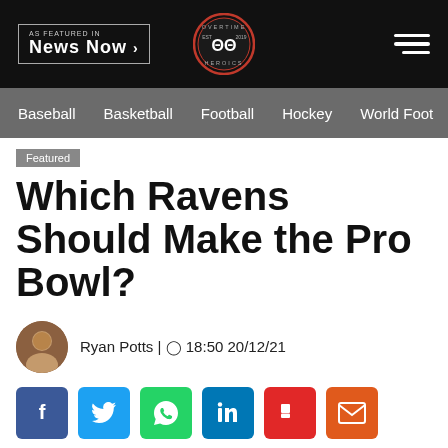AS FEATURED IN NEWS NOW | Overtime Heroics | [hamburger menu]
Baseball  Basketball  Football  Hockey  World Football
Featured
Which Ravens Should Make the Pro Bowl?
Ryan Potts | 18:50 20/12/21
[Figure (infographic): Social sharing icons row: Facebook, Twitter, WhatsApp, LinkedIn, Flipboard, Email]
[Figure (photo): Baltimore Ravens player celebrating on field during game]